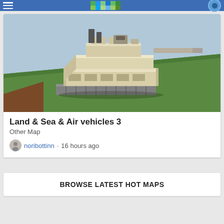[Figure (screenshot): Minecraft-style 3D blocky tank vehicle on a green and dirt terrain block, viewed from an isometric angle. The tank is white/cream colored with grey stone tracks and a barrel extending to the right.]
Land & Sea & Air vehicles 3
Other Map
noribottinn · 16 hours ago
BROWSE LATEST HOT MAPS